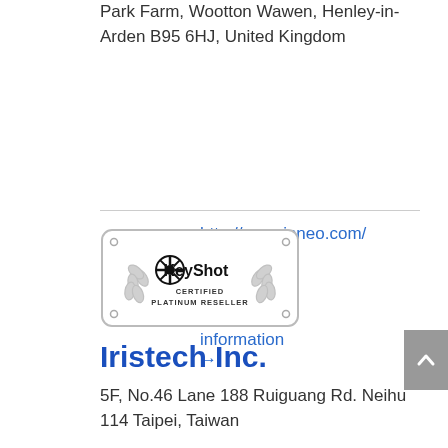Park Farm, Wootton Wawen, Henley-in-Arden B95 6HJ, United Kingdom
http://www.inneo.com/
More information →
[Figure (logo): KeyShot Certified Platinum Reseller badge with laurel wreath design]
Iristech Inc.
5F, No.46 Lane 188 Ruiguang Rd. Neihu 114 Taipei, Taiwan
http://www.iristech.com.tw/
More information →